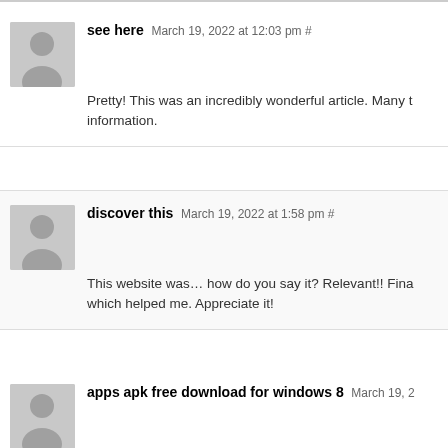see here March 19, 2022 at 12:03 pm # Pretty! This was an incredibly wonderful article. Many thanks for providing this information.
discover this March 19, 2022 at 1:58 pm # This website was… how do you say it? Relevant!! Finally I have found something which helped me. Appreciate it!
apps apk free download for windows 8 March 19, 2… below you will find the link to some internet sites that w…